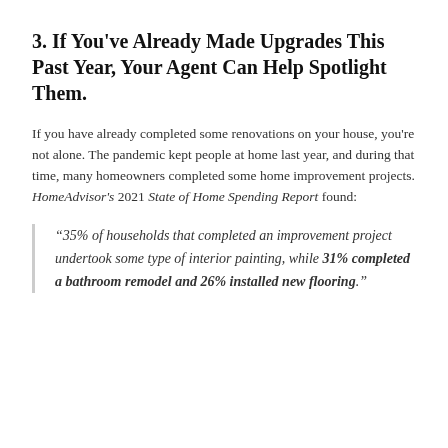3. If You've Already Made Upgrades This Past Year, Your Agent Can Help Spotlight Them.
If you have already completed some renovations on your house, you're not alone. The pandemic kept people at home last year, and during that time, many homeowners completed some home improvement projects. HomeAdvisor's 2021 State of Home Spending Report found:
“35% of households that completed an improvement project undertook some type of interior painting, while 31% completed a bathroom remodel and 26% installed new flooring.”